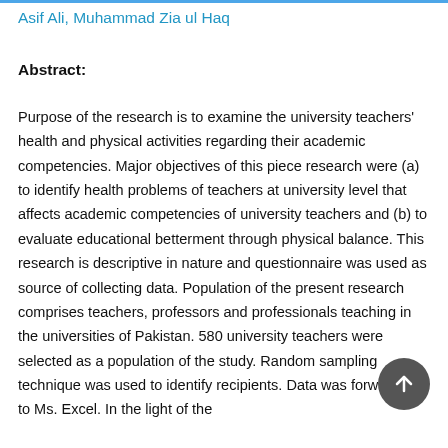Asif Ali, Muhammad Zia ul Haq
Abstract:
Purpose of the research is to examine the university teachers' health and physical activities regarding their academic competencies. Major objectives of this piece research were (a) to identify health problems of teachers at university level that affects academic competencies of university teachers and (b) to evaluate educational betterment through physical balance. This research is descriptive in nature and questionnaire was used as source of collecting data. Population of the present research comprises teachers, professors and professionals teaching in the universities of Pakistan. 580 university teachers were selected as a population of the study. Random sampling technique was used to identify recipients. Data was forwarded to Ms. Excel. In the light of the